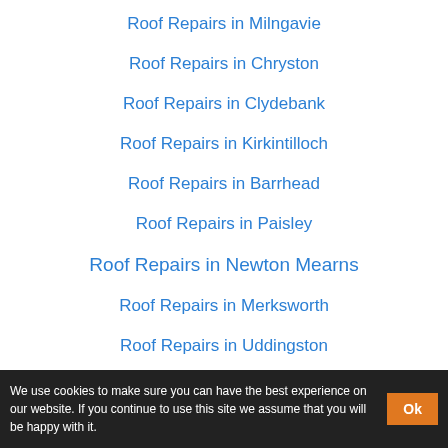Roof Repairs in Milngavie
Roof Repairs in Chryston
Roof Repairs in Clydebank
Roof Repairs in Kirkintilloch
Roof Repairs in Barrhead
Roof Repairs in Paisley
Roof Repairs in Newton Mearns
Roof Repairs in Merksworth
Roof Repairs in Uddingston
We use cookies to make sure you can have the best experience on our website. If you continue to use this site we assume that you will be happy with it. Ok